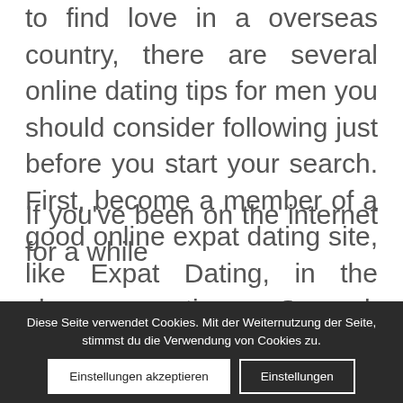to find love in a overseas country, there are several online dating tips for men you should consider following just before you start your search. First, become a member of a good online expat dating site, like Expat Dating, in the chosen nation. Second, establish a [...]
Quick Tips For Selecting Love With Guide To Online Dating
If you've been on the internet for a while...
Diese Seite verwendet Cookies. Mit der Weiternutzung der Seite, stimmst du die Verwendung von Cookies zu. Einstellungen akzeptieren Einstellungen